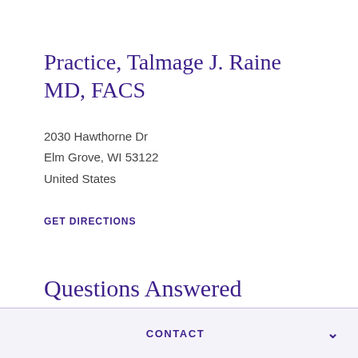Practice, Talmage J. Raine MD, FACS
2030 Hawthorne Dr
Elm Grove, WI 53122
United States
GET DIRECTIONS
Questions Answered
CONTACT